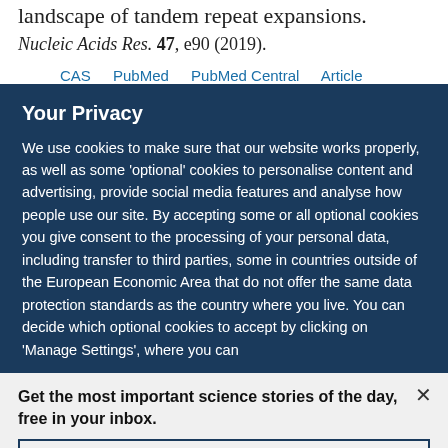landscape of tandem repeat expansions. Nucleic Acids Res. 47, e90 (2019).
CAS   PubMed   PubMed Central   Article
Your Privacy
We use cookies to make sure that our website works properly, as well as some 'optional' cookies to personalise content and advertising, provide social media features and analyse how people use our site. By accepting some or all optional cookies you give consent to the processing of your personal data, including transfer to third parties, some in countries outside of the European Economic Area that do not offer the same data protection standards as the country where you live. You can decide which optional cookies to accept by clicking on 'Manage Settings', where you can
Get the most important science stories of the day, free in your inbox.
Sign up for Nature Briefing